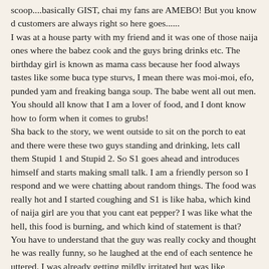scoop....basically GIST, chai my fans are AMEBO! But you know d customers are always right so here goes...... I was at a house party with my friend and it was one of those naija ones where the babez cook and the guys bring drinks etc. The birthday girl is known as mama cass because her food always tastes like some buca type sturvs, I mean there was moi-moi, efo, punded yam and freaking banga soup. The babe went all out men. You should all know that I am a lover of food, and I dont know how to form when it comes to grubs! Sha back to the story, we went outside to sit on the porch to eat and there were these two guys standing and drinking, lets call them Stupid 1 and Stupid 2. So S1 goes ahead and introduces himself and starts making small talk. I am a friendly person so I respond and we were chatting about random things. The food was really hot and I started coughing and S1 is like haba, which kind of naija girl are you that you cant eat pepper? I was like what the hell, this food is burning, and which kind of statement is that? You have to understand that the guy was really cocky and thought he was really funny, so he laughed at the end of each sentence he uttered. I was already getting mildly irritated but was like whatever, just indulge him. Now this is where any normal girl would have realised that he was a dumbass but I have this thing